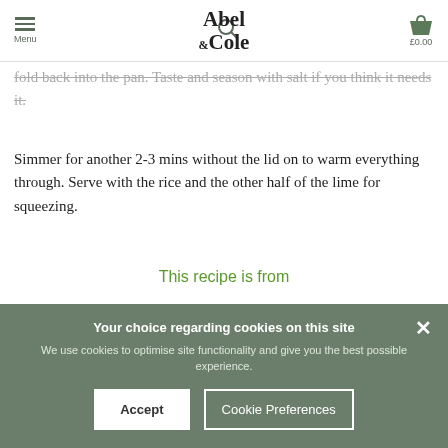Menu | Abel & Cole | £0.00
fold back into the pan. Taste and season with salt if you think it needs it.
Simmer for another 2-3 mins without the lid on to warm everything through. Serve with the rice and the other half of the lime for squeezing.
This recipe is from
See this week's box
Your choice regarding cookies on this site
We use cookies to optimise site functionality and give you the best possible experience.